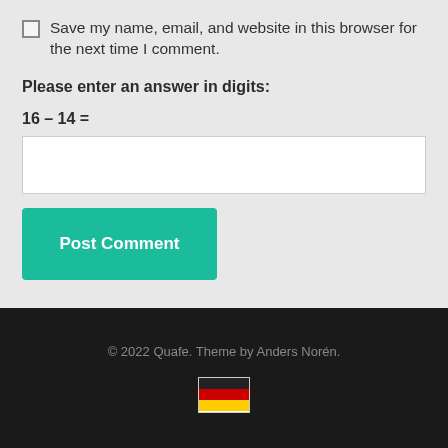Save my name, email, and website in this browser for the next time I comment.
Please enter an answer in digits:
Post Comment
© 2022 Quafe. Theme by Anders Norén.
[Figure (illustration): German flag icon]